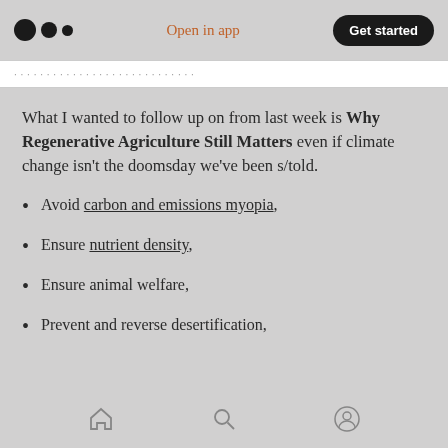Open in app | Get started
What I wanted to follow up on from last week is Why Regenerative Agriculture Still Matters even if climate change isn't the doomsday we've been s/told.
Avoid carbon and emissions myopia,
Ensure nutrient density,
Ensure animal welfare,
Prevent and reverse desertification,
Home | Search | Profile